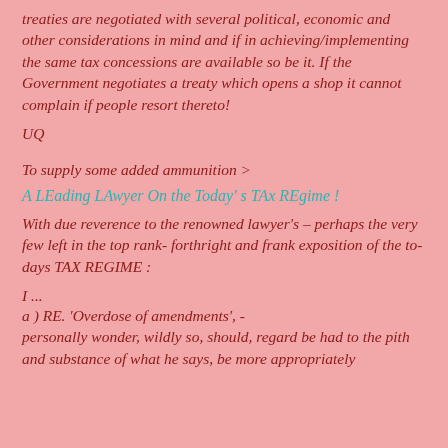treaties are negotiated with several political, economic and other considerations in mind and if in achieving/implementing the same tax concessions are available so be it. If the Government negotiates a treaty which opens a shop it cannot complain if people resort thereto!
UQ
To supply some added ammunition >
A LEading LAwyer On the Today's TAx REgime !
With due reverence to the renowned lawyer's – perhaps the very few left in the top rank- forthright and frank exposition of the to-days TAX REGIME :
I ...
a ) RE. 'Overdose of amendments', -
personally wonder, wildly so, should, regard be had to the pith and substance of what he says, be more appropriately